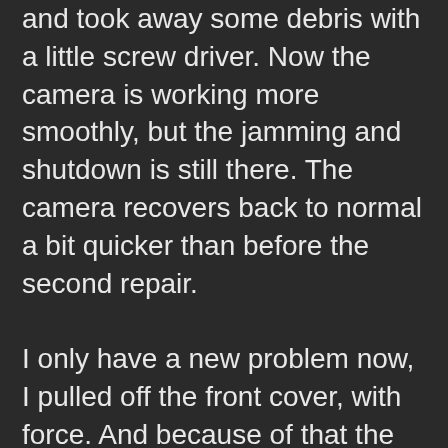and took away some debris with a little screw driver. Now the camera is working more smoothly, but the jamming and shutdown is still there. The camera recovers back to normal a bit quicker than before the second repair.

I only have a new problem now, I pulled off the front cover, with force. And because of that the connection wire for the DOF button came loose from the circuit board in the camera. And it is not possible to fix this without taking the back cover from the camera. I didn't want to do that because I can damage other stuff inside. So I put it together